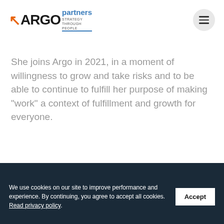[Figure (logo): Argo Partners logo with orange arrow, dark ARGO text, blue 'partners' text, and tagline 'STRATEGY THROUGH PEOPLE' separated by a blue underline]
[Figure (other): Hamburger menu icon (three horizontal lines) inside a light grey circle]
She joins Argo in 2021, in a moment of willingness to grow and take risks and to be able to continue to fulfill her purpose of making "work" a context of fulfillment and growth for everyone.
We use cookies on our site to improve performance and experience. By continuing, you agree to accept all cookies. Read privacy policy.